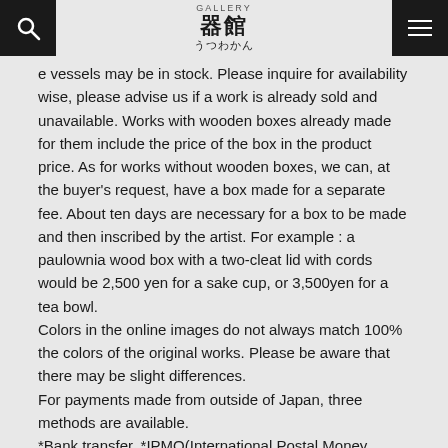器館 うつわかん (logo header with search and menu)
e vessels may be in stock. Please inquire for availability wise, please advise us if a work is already sold and unavailable. Works with wooden boxes already made for them include the price of the box in the product price. As for works without wooden boxes, we can, at the buyer's request, have a box made for a separate fee. About ten days are necessary for a box to be made and then inscribed by the artist. For example : a paulownia wood box with a two-cleat lid with cords would be 2,500 yen for a sake cup, or 3,500yen for a tea bowl. Colors in the online images do not always match 100% the colors of the original works. Please be aware that there may be slight differences. For payments made from outside of Japan, three methods are available. *Bank transfer, *IPMO(International Postal Money Order) and *PayPal. If you have a PayPal account, we can send an invoice via email and you then can pay through your PayPal account.